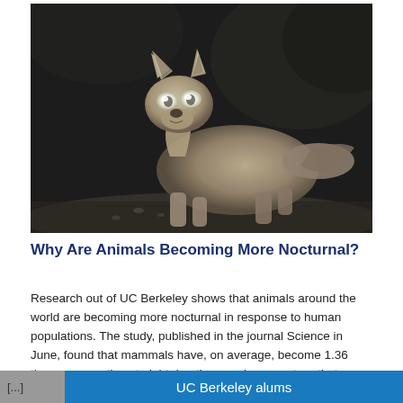[Figure (photo): Night-vision trail camera photo of a coyote looking directly at the camera, standing on a dirt path. The image is in black and white/grayscale. The animal's eyes are brightly lit (eye shine) from the camera flash. Background shows dark vegetation.]
Why Are Animals Becoming More Nocturnal?
Research out of UC Berkeley shows that animals around the world are becoming more nocturnal in response to human populations. The study, published in the journal Science in June, found that mammals have, on average, become 1.36 times more active at night. In other words, a creature that normally would have split its activities equally
[...] UC Berkeley alums